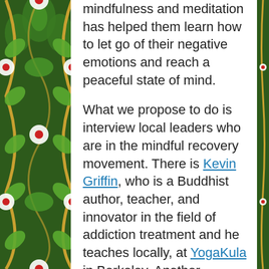mindfulness and meditation has helped them learn how to let go of their negative emotions and reach a peaceful state of mind.

What we propose to do is interview local leaders who are in the mindful recovery movement. There is Kevin Griffin, who is a Buddhist author, teacher, and innovator in the field of addiction treatment and he teaches locally, at YogaKula in Berkeley. Another meditation group that would be interesting to interview is Urban Dharma, located in San Francisco and inspired by the book Dharma Punx, written by Noah Levine. Noah Levine is a Buddhist teacher, author and counselor. He teaches meditation classes, workshops and retreats nationally as well as leading groups in juvenile halls and prisons. Also, to research the latest neuroscience behind the effectiveness of mindfulness in recovery we